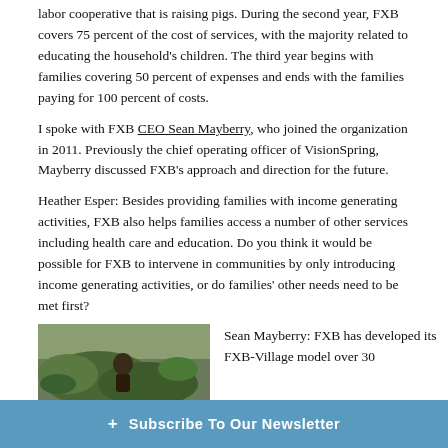labor cooperative that is raising pigs. During the second year, FXB covers 75 percent of the cost of services, with the majority related to educating the household's children. The third year begins with families covering 50 percent of expenses and ends with the families paying for 100 percent of costs.
I spoke with FXB CEO Sean Mayberry, who joined the organization in 2011. Previously the chief operating officer of VisionSpring, Mayberry discussed FXB's approach and direction for the future.
Heather Esper: Besides providing families with income generating activities, FXB also helps families access a number of other services including health care and education. Do you think it would be possible for FXB to intervene in communities by only introducing income generating activities, or do families' other needs need to be met first?
[Figure (photo): Person crouching in a garden or field with green plants]
Sean Mayberry: FXB has developed its FXB-Village model over 30...